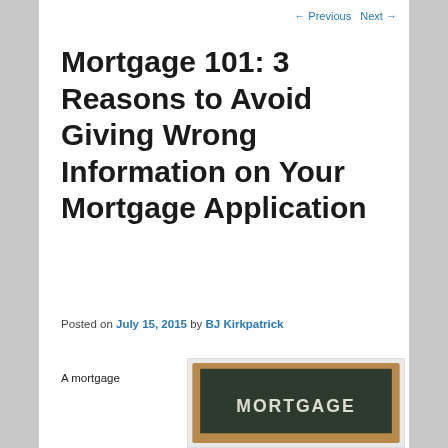← Previous   Next →
Mortgage 101: 3 Reasons to Avoid Giving Wrong Information on Your Mortgage Application
Posted on July 15, 2015 by BJ Kirkpatrick
A mortgage
[Figure (photo): Chalkboard with the word MORTGAGE written in white chalk]